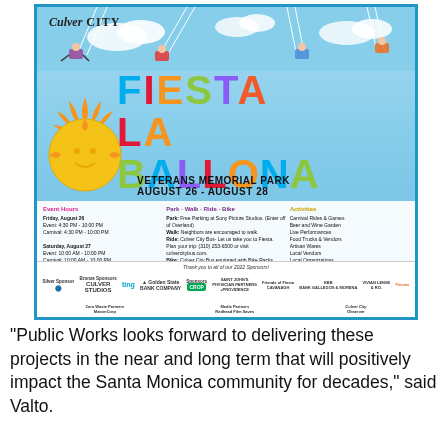[Figure (infographic): Fiesta La Ballona event flyer for Culver City. Features colorful title text 'FIESTA LA BALLONA', venue 'Veterans Memorial Park August 26 - August 28', event hours, park-walk-ride-bike info, activities, and sponsor logos. Background shows people on carnival swings against a blue sky.]
“Public Works looks forward to delivering these projects in the near and long term that will positively impact the Santa Monica community for decades,” said Valto.